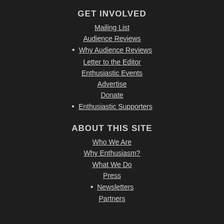GET INVOLVED
Mailing List
Audience Reviews
• Why Audience Reviews
Letter to the Editor
Enthusiastic Events
Advertise
Donate
• Enthusiastic Supporters
ABOUT THIS SITE
Who We Are
Why Enthusiasm?
What We Do
Press
• Newsletters
Partners